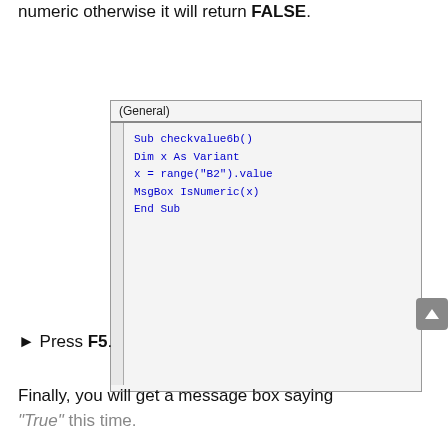numeric otherwise it will return FALSE.
[Figure (screenshot): Code editor window showing VBA code: Sub checkvalue6b() / Dim x As Variant / x = range("B2").value / MsgBox IsNumeric(x) / End Sub]
▶ Press F5.
Finally, you will get a message box saying "True" this time.